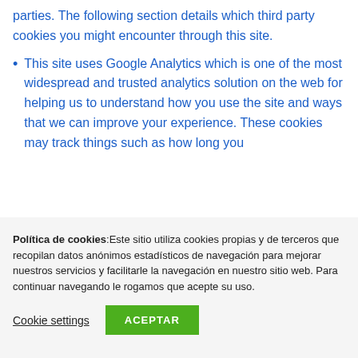parties. The following section details which third party cookies you might encounter through this site.
This site uses Google Analytics which is one of the most widespread and trusted analytics solution on the web for helping us to understand how you use the site and ways that we can improve your experience. These cookies may track things such as how long you
Política de cookies: Este sitio utiliza cookies propias y de terceros que recopilan datos anónimos estadísticos de navegación para mejorar nuestros servicios y facilitarle la navegación en nuestro sitio web. Para continuar navegando le rogamos que acepte su uso.
Cookie settings | ACEPTAR